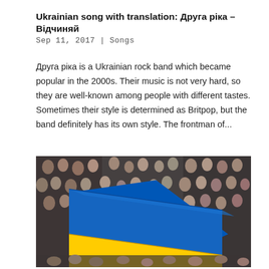Ukrainian song with translation: Друга ріка – Відчиняй
Sep 11, 2017 | Songs
Друга ріка is a Ukrainian rock band which became popular in the 2000s. Their music is not very hard, so they are well-known among people with different tastes. Sometimes their style is determined as Britpop, but the band definitely has its own style. The frontman of...
[Figure (photo): Large crowd of people holding a Ukrainian flag (blue and yellow) in the foreground, taken at an outdoor gathering or demonstration.]